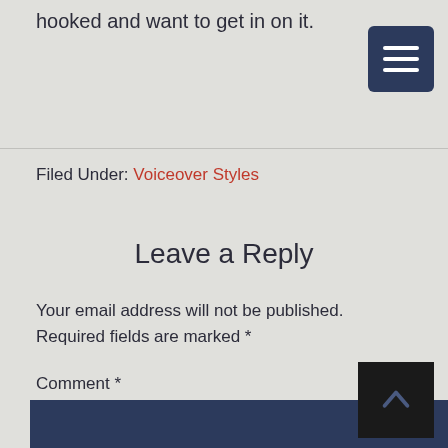hooked and want to get in on it.
Filed Under: Voiceover Styles
Leave a Reply
Your email address will not be published. Required fields are marked *
Comment *